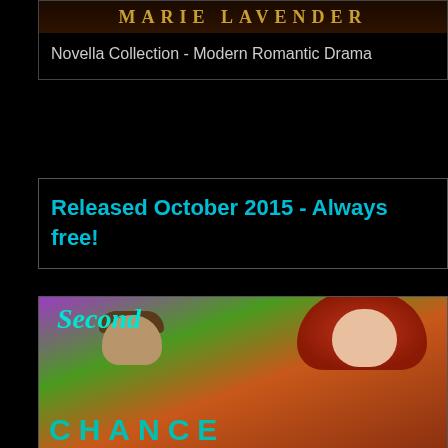[Figure (illustration): Top portion of book cover showing author name MARIE LAVENDER in gold letters on dark background]
Novella Collection - Modern Romantic Drama
Released October 2015 - Always free!
[Figure (illustration): Book cover for 'Second Chance' showing a couple - woman with red hair and red lips, man leaning in close, purple and green background, teal title text reading 'Second' at top and 'CHANCE' at bottom]